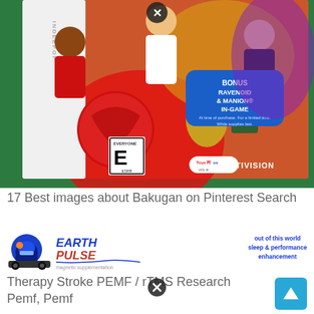[Figure (photo): Photo of a Bakugan video game box (Activision/Toys R Us) with anime characters, ESRB E rating badge, and a blue bonus badge reading 'BONUS RAVENOID & MANION IN-GAME'. Box is on a green surface.]
17 Best images about Bakugan on Pinterest Search
[Figure (logo): Earth Pulse logo with blue robotic helmet icon, stylized 'EARTH PULSE' text in blue and red italic, subtitle 'magnetic supplementation'. Tagline on right: 'out of this world sleep & performance enhancement']
Therapy Stroke PEMF / rTMS Research Pemf, Pemf